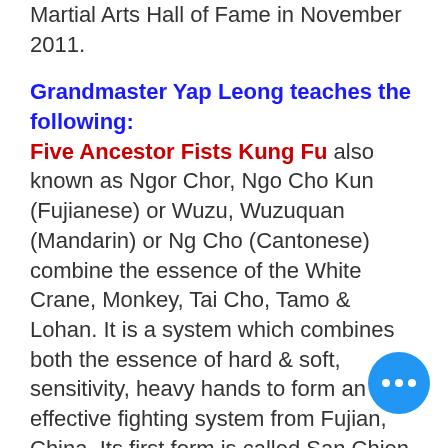Martial Arts Hall of Fame in November 2011.
Grandmaster Yap Leong teaches the following:
Five Ancestor Fists Kung Fu also known as Ngor Chor, Ngo Cho Kun (Fujianese) or Wuzu, Wuzuquan (Mandarin) or Ng Cho (Cantonese) combine the essence of the White Crane, Monkey, Tai Cho, Tamo & Lohan. It is a system which combines both the essence of hard & soft, sensitivity, heavy hands to form an effective fighting system from Fujian, China. Its first form is called San Chien, Sam Chien, Sam Chin meaning Three Arrows, Three Battles or Three Strategies. It is considered to the most basic or most advanced